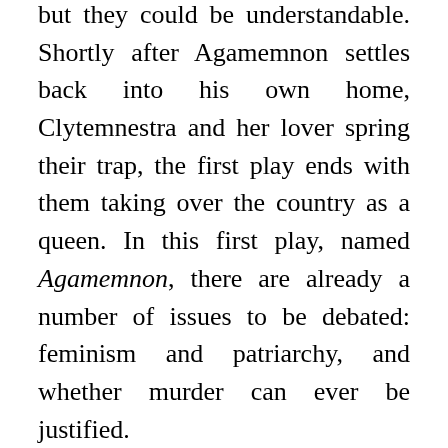but they could be understandable. Shortly after Agamemnon settles back into his own home, Clytemnestra and her lover spring their trap, the first play ends with them taking over the country as a queen. In this first play, named Agamemnon, there are already a number of issues to be debated: feminism and patriarchy, and whether murder can ever be justified.
The second play, The Libation Bearers, focuses on Orestes, returning home and taking his revenge on behalf of his father by murdering Clytemnestra and her lover. You might have thought that the play